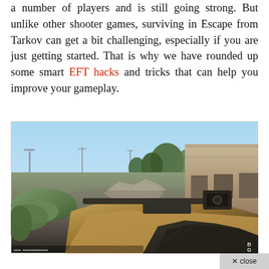a number of players and is still going strong. But unlike other shooter games, surviving in Escape from Tarkov can get a bit challenging, especially if you are just getting started. That is why we have rounded up some smart EFT hacks and tricks that can help you improve your gameplay.
[Figure (screenshot): First-person shooter gameplay screenshot from Escape from Tarkov showing a player holding a rifle with wooden stock and red dot sight, standing near sandbags in an outdoor environment with destroyed buildings, rubble, trees, and a clear sky in the background.]